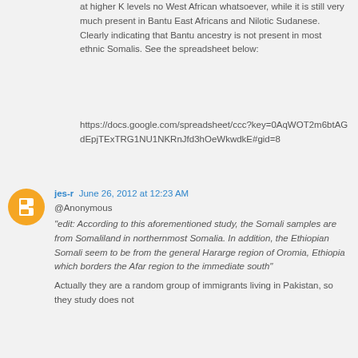at higher K levels no West African whatsoever, while it is still very much present in Bantu East Africans and Nilotic Sudanese. Clearly indicating that Bantu ancestry is not present in most ethnic Somalis. See the spreadsheet below:
https://docs.google.com/spreadsheet/ccc?key=0AqWOT2m6btAGdEpjTExTRG1NU1NKRnJfd3hOeWkwdkE#gid=8
jes-r June 26, 2012 at 12:23 AM
@Anonymous
"edit: According to this aforementioned study, the Somali samples are from Somaliland in northernmost Somalia. In addition, the Ethiopian Somali seem to be from the general Hararge region of Oromia, Ethiopia which borders the Afar region to the immediate south"
Actually they are a random group of immigrants living in Pakistan, so they study does not...